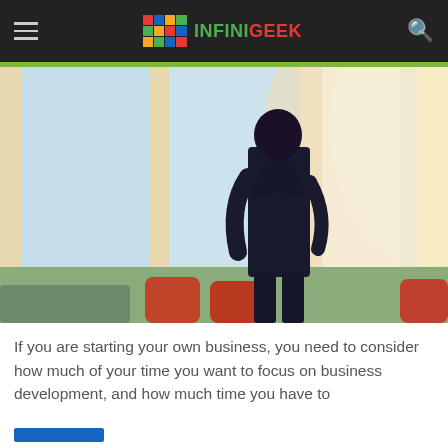INFINIGEEK
[Figure (photo): A businessman in a dark suit stands with his back to the camera, looking out large floor-to-ceiling windows in a bright conference room; orange/red chairs visible around a table in the foreground.]
If you are starting your own business, you need to consider how much of your time you want to focus on business development, and how much time you have to